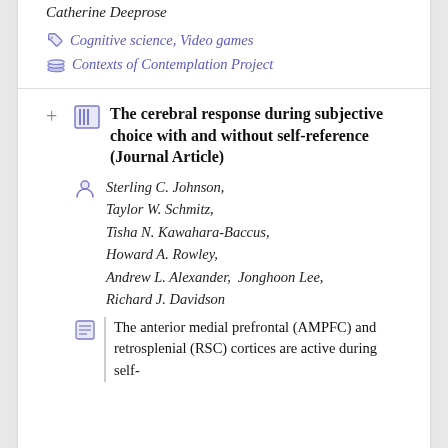Catherine Deeprose
Cognitive science, Video games
Contexts of Contemplation Project
The cerebral response during subjective choice with and without self-reference (Journal Article)
Sterling C. Johnson, Taylor W. Schmitz, Tisha N. Kawahara-Baccus, Howard A. Rowley, Andrew L. Alexander, Jonghoon Lee, Richard J. Davidson
The anterior medial prefrontal (AMPFC) and retrosplenial (RSC) cortices are active during self-